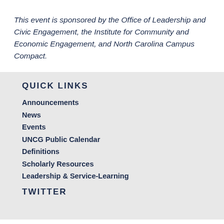This event is sponsored by the Office of Leadership and Civic Engagement, the Institute for Community and Economic Engagement, and North Carolina Campus Compact.
QUICK LINKS
Announcements
News
Events
UNCG Public Calendar
Definitions
Scholarly Resources
Leadership & Service-Learning
TWITTER